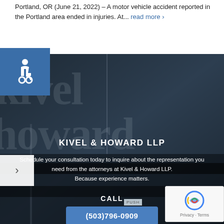Portland, OR (June 21, 2022) – A motor vehicle accident reported in the Portland area ended in injuries. At... read more ›
[Figure (other): Blue accessibility icon square in top-left corner]
[Figure (photo): Dark background photo of a law office with large glass door featuring Kivel & Howard LLP lettering as watermark overlay. Contains arrow navigation button on left side.]
KIVEL & HOWARD LLP
Schedule your consultation today to inquire about the representation you need from the attorneys at Kivel & Howard LLP. Because experience matters.
CALL
(503)796-0909
EMAIL
info@k-hlaw.com
[Figure (other): Google reCAPTCHA badge in bottom-right corner]